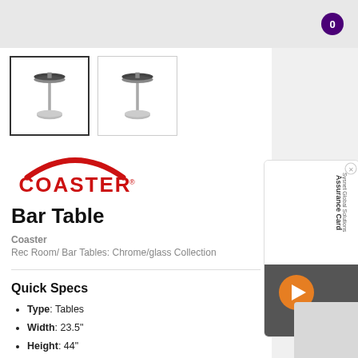0
[Figure (photo): Two thumbnail images of a bar table with chrome pedestal base and dark glass top. Left thumbnail is selected with bold border.]
[Figure (logo): Coaster brand logo - red arch above red text COASTER with registered trademark symbol]
Bar Table
Coaster
Rec Room/ Bar Tables: Chrome/glass Collection
Quick Specs
Type: Tables
Width: 23.5"
Height: 44"
Depth: 23.5"